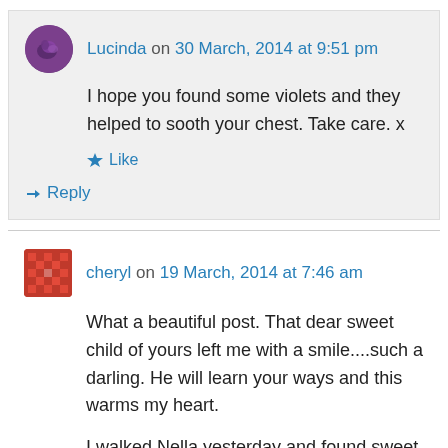Lucinda on 30 March, 2014 at 9:51 pm
I hope you found some violets and they helped to sooth your chest. Take care. x
Like
Reply
cheryl on 19 March, 2014 at 7:46 am
What a beautiful post. That dear sweet child of yours left me with a smile....such a darling. He will learn your ways and this warms my heart.
I walked Nella yesterday and found sweet violets growing beneath the old Hawthorn hedgerow. It